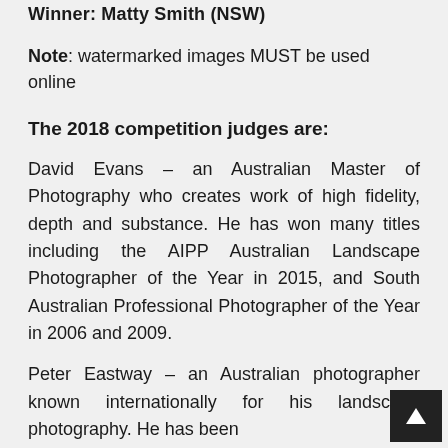Winner: Matty Smith (NSW)
Note: watermarked images MUST be used online
The 2018 competition judges are:
David Evans – an Australian Master of Photography who creates work of high fidelity, depth and substance. He has won many titles including the AIPP Australian Landscape Photographer of the Year in 2015, and South Australian Professional Photographer of the Year in 2006 and 2009.
Peter Eastway – an Australian photographer known internationally for his landscape photography. He has been